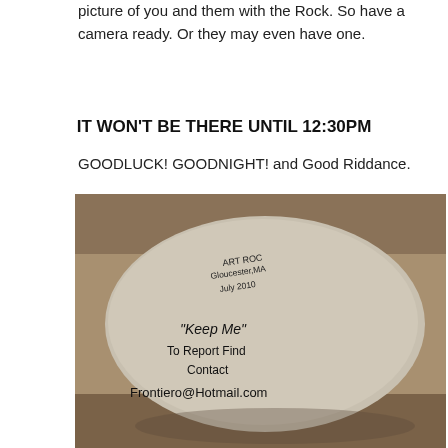picture of you and them with the Rock. So have a camera ready. Or they may even have one.
IT WON'T BE THERE UNTIL 12:30PM
GOODLUCK! GOODNIGHT! and Good Riddance.
[Figure (photo): A smooth grey rock with handwritten text reading: ART ROC Gloucester, MA July 2010 "Keep Me" To Report Find Contact Frontiero@Hotmail.com. The rock sits on a rough granite surface.]